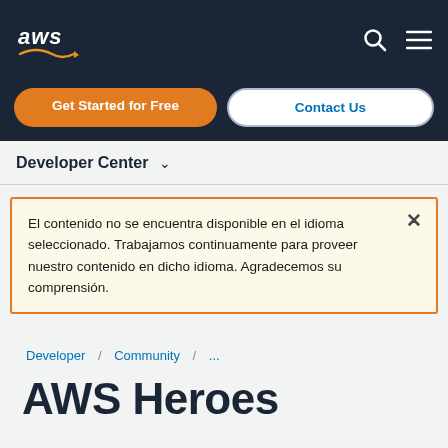[Figure (logo): AWS logo in white text on dark navy background with orange arrow swoosh]
Get Started for Free
Contact Us
Developer Center
El contenido no se encuentra disponible en el idioma seleccionado. Trabajamos continuamente para proveer nuestro contenido en dicho idioma. Agradecemos su comprensión.
Developer / Community / ...
AWS Heroes